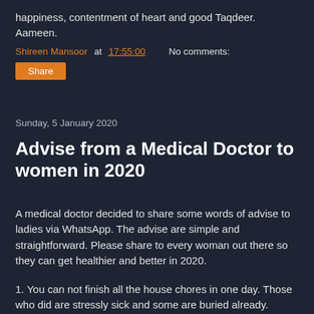happiness, contentment of heart and good Taqdeer. Aameen.
Shireen Mansoor at 17:55:00   No comments:
Share
Sunday, 5 January 2020
Advise from a Medical Doctor to women in 2020
A medical doctor decided to share some words of advise to ladies via WhatsApp. The advise are simple and straightforward. Please share to every woman out there so they can get healthier and better in 2020.
1. You can not finish all the house chores in one day. Those who did are stressly sick and some are buried already.
2. (partially visible)